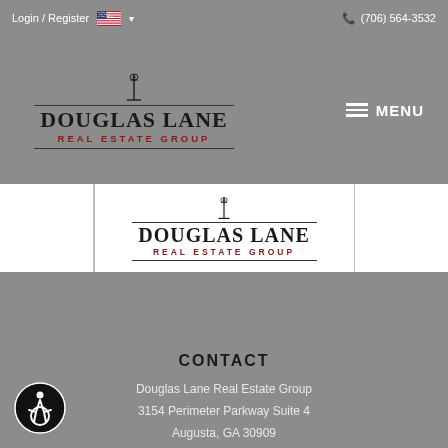Login / Register  🇺🇸 ▾     (706) 564-3532
[Figure (logo): Douglas Lane Real Estate Group logo with lamp post icon, horizontal lines, black serif text and red subtitle]
[Figure (logo): Douglas Lane Real Estate Group logo (smaller, on white background) with lamp post icon, horizontal lines, black serif text and red subtitle]
CONTACT
Douglas Lane Real Estate Group
3154 Perimeter Parkway Suite 4
Augusta, GA 30909
O: (706) 831-0771
M: (706) 564-3532